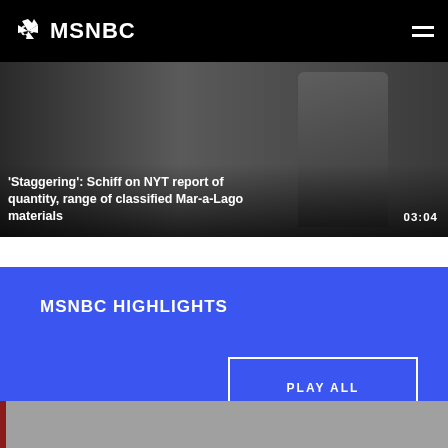MSNBC
[Figure (screenshot): Video thumbnail showing a person in a suit, dark background, with video title and timestamp overlay]
'Staggering': Schiff on NYT report of quantity, range of classified Mar-a-Lago materials
03:04
MSNBC HIGHLIGHTS
PLAY ALL
[Figure (screenshot): Bottom partial screenshot strip, gray background with dark red vertical bar on left]